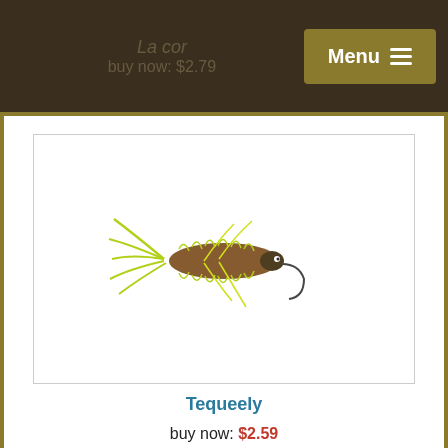buy now: $2.79
[Figure (photo): Fly fishing lure - Tequeely, chartreuse/yellow woolly bugger style fly with brown body]
Tequeely
buy now: $2.59
[Figure (photo): Fly fishing lure - brown/tan streamer style fly with feathers]